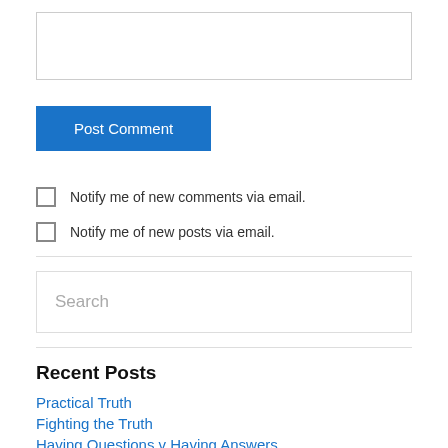[Figure (screenshot): Empty textarea input field with border]
Post Comment
Notify me of new comments via email.
Notify me of new posts via email.
[Figure (screenshot): Search input box with placeholder text 'Search']
Recent Posts
Practical Truth
Fighting the Truth
Having Questions v Having Answers